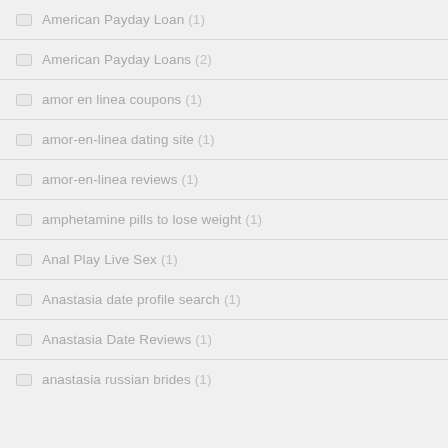American Payday Loan (1)
American Payday Loans (2)
amor en linea coupons (1)
amor-en-linea dating site (1)
amor-en-linea reviews (1)
amphetamine pills to lose weight (1)
Anal Play Live Sex (1)
Anastasia date profile search (1)
Anastasia Date Reviews (1)
anastasia russian brides (1)